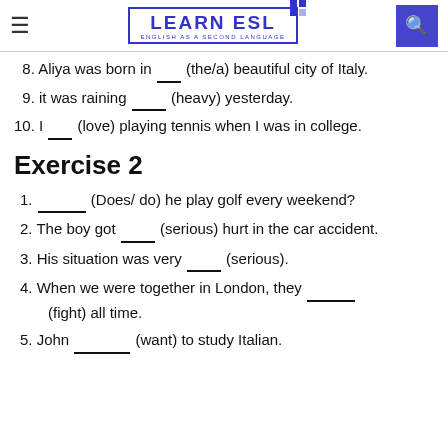Learn ESL — English as a Second Language
8. Aliya was born in ___ (the/a) beautiful city of Italy.
9. it was raining _____ (heavy) yesterday.
10. I ___ (love) playing tennis when I was in college.
Exercise 2
1. ______ (Does/ do) he play golf every weekend?
2. The boy got _____ (serious) hurt in the car accident.
3. His situation was very _____ (serious).
4. When we were together in London, they ______ (fight) all time.
5. John ________ (want) to study Italian.